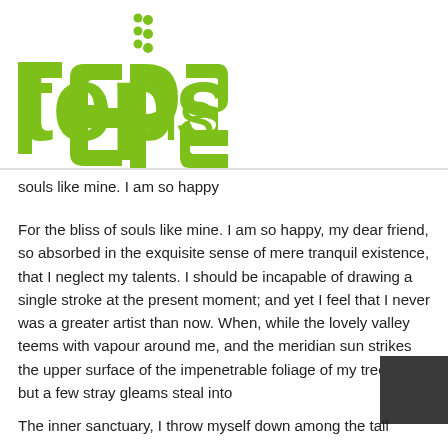[Figure (logo): Tepsis logo in lime green with three dots above the letter 'i' forming a vertical ellipsis decoration]
souls like mine. I am so happy
For the bliss of souls like mine. I am so happy, my dear friend, so absorbed in the exquisite sense of mere tranquil existence, that I neglect my talents. I should be incapable of drawing a single stroke at the present moment; and yet I feel that I never was a greater artist than now. When, while the lovely valley teems with vapour around me, and the meridian sun strikes the upper surface of the impenetrable foliage of my trees, and but a few stray gleams steal into
The inner sanctuary, I throw myself down among the tall